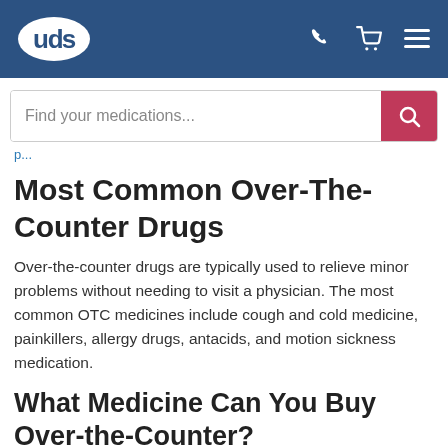UDS (logo)
Find your medications...
Most Common Over-The-Counter Drugs
Over-the-counter drugs are typically used to relieve minor problems without needing to visit a physician. The most common OTC medicines include cough and cold medicine, painkillers, allergy drugs, antacids, and motion sickness medication.
What Medicine Can You Buy Over-the-Counter?
Generally speaking, non-prescription medication can be